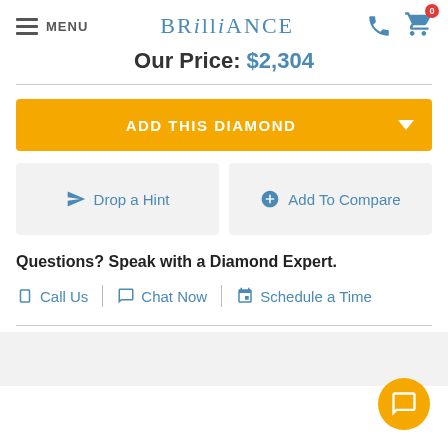MENU | BRILLIANCE | phone icon | cart icon (0)
Our Price: $2,304
ADD THIS DIAMOND
Drop a Hint
Add To Compare
Questions? Speak with a Diamond Expert.
Call Us | Chat Now | Schedule a Time